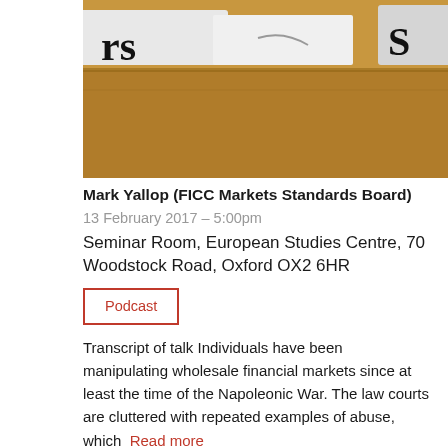[Figure (photo): Photograph of file folders/index cards in a drawer, partially cropped, brown/tan color with white label tabs visible]
Mark Yallop (FICC Markets Standards Board)
13 February 2017 – 5:00pm
Seminar Room, European Studies Centre, 70 Woodstock Road, Oxford OX2 6HR
Podcast
Transcript of talk Individuals have been manipulating wholesale financial markets since at least the time of the Napoleonic War. The law courts are cluttered with repeated examples of abuse, which … Read more